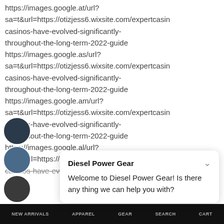https://images.google.at/url?sa=t&url=https://otizjess6.wixsite.com/expertcasin casinos-have-evolved-significantly-throughout-the-long-term-2022-guide https://images.google.as/url?sa=t&url=https://otizjess6.wixsite.com/expertcasin casinos-have-evolved-significantly-throughout-the-long-term-2022-guide https://images.google.am/url?sa=t&url=https://otizjess6.wixsite.com/expertcasin casinos-have-evolved-significantly-throughout-the-long-term-2022-guide https://images.google.al/url?sa=t&url=https://otizjess6.wixsite.com/expertcasin casinos-have-evolved-significantly-
Diesel Power Gear
Welcome to Diesel Power Gear! Is there any thing we can help you with?
NEW ARRIVALS   APPAREL   GEAR   SEARCH   CART